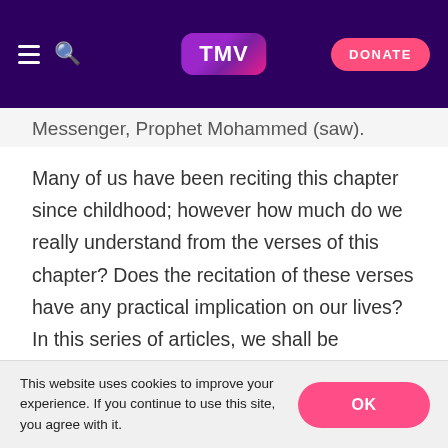TMV | DONATE
Messenger, Prophet Mohammed (saw).
Many of us have been reciting this chapter since childhood; however how much do we really understand from the verses of this chapter? Does the recitation of these verses have any practical implication on our lives? In this series of articles, we shall be exploring some of the meanings behind each of the verses of this chapter based on the explanations given by the exegeses, in addition to analysing their practical implications.
It is imperative to first discuss the importance and
This website uses cookies to improve your experience. If you continue to use this site, you agree with it.